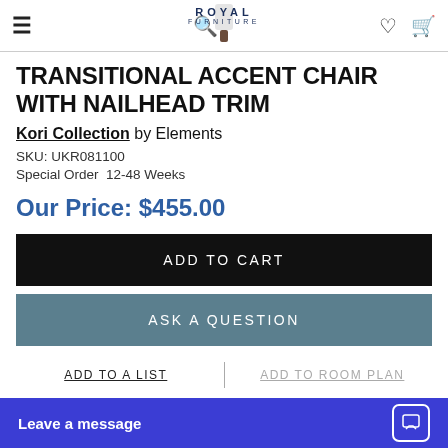ROYAL FURNITURE
TRANSITIONAL ACCENT CHAIR WITH NAILHEAD TRIM
Kori Collection by Elements
SKU: UKR081100
Special Order  12-48 Weeks
Our Price: $455.00
ADD TO CART
ASK A QUESTION
ADD TO A LIST
Leave a message